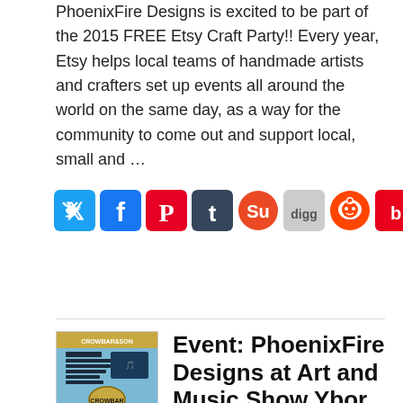PhoenixFire Designs is excited to be part of the 2015 FREE Etsy Craft Party!! Every year, Etsy helps local teams of handmade artists and crafters set up events all around the world on the same day, as a way for the community to come out and support local, small and …
[Figure (infographic): A row of social media sharing icons: Twitter, Facebook, Pinterest, Tumblr, StumbleUpon, Digg, Reddit, Bebo, Delicious, Email]
Event: PhoenixFire Designs at Art and Music Show Ybor
May 7, 2015 | Filed under: Updates
New event added to the PhoenixFire Designs show schedule! Come on out and see us Saturday, June 6, 2015 @ 6pm in Ybor at the Crowbar for Art and Music Show! Looking for Things to Do in Tampa? Look no further! Tons of live music and an awesome collection of